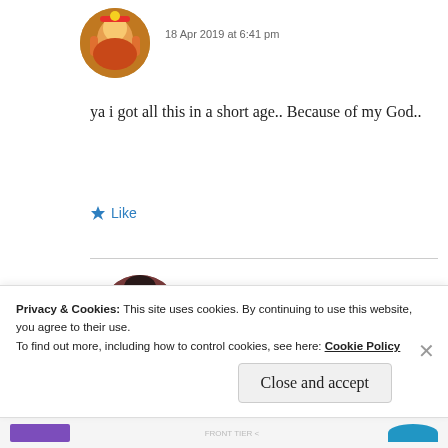[Figure (photo): Circular avatar image of a Hindu deity figure with colorful ornate decorations]
18 Apr 2019 at 6:41 pm
ya i got all this in a short age.. Because of my God..
Like
[Figure (photo): Circular avatar image of a person with dark hair, dark brownish-red background]
ZEALOUS HOMO SAPIENS
18 Apr 2019 at 6:42 pm
Privacy & Cookies: This site uses cookies. By continuing to use this website, you agree to their use.
To find out more, including how to control cookies, see here: Cookie Policy
Close and accept